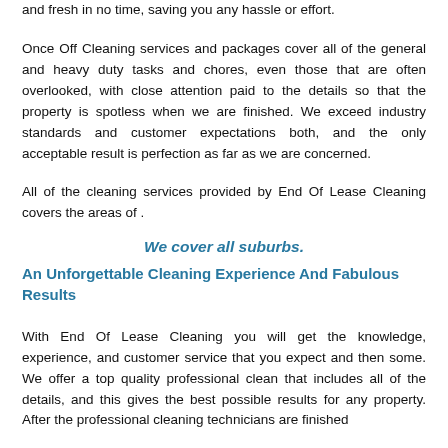and fresh in no time, saving you any hassle or effort.
Once Off Cleaning services and packages cover all of the general and heavy duty tasks and chores, even those that are often overlooked, with close attention paid to the details so that the property is spotless when we are finished. We exceed industry standards and customer expectations both, and the only acceptable result is perfection as far as we are concerned.
All of the cleaning services provided by End Of Lease Cleaning covers the areas of .
We cover all suburbs.
An Unforgettable Cleaning Experience And Fabulous Results
With End Of Lease Cleaning you will get the knowledge, experience, and customer service that you expect and then some. We offer a top quality professional clean that includes all of the details, and this gives the best possible results for any property. After the professional cleaning technicians are finished